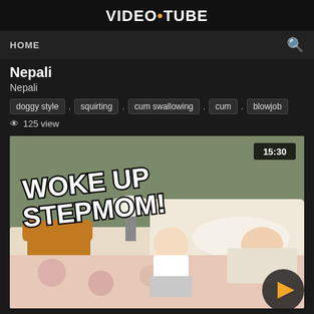VIDEO•TUBE
HOME
Nepali
Nepali
doggy style , squirting , cum swallowing , cum , blowjob
125 view
[Figure (screenshot): Video thumbnail showing text 'WOKE UP STEPMOM!' with duration badge 15:30 and a play button overlay]